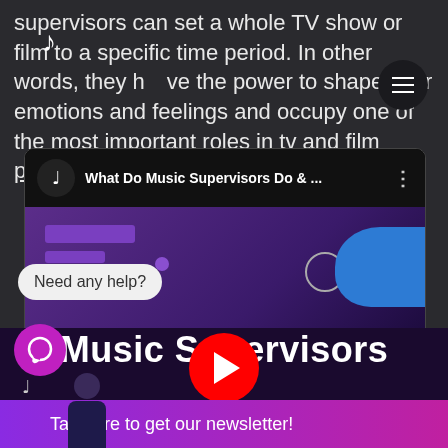supervisors can set a whole TV show or film to a specific time period. In other words, they have the power to shape your emotions and feelings and occupy one of the most important roles in tv and film production.
[Figure (screenshot): Embedded YouTube video player showing 'What Do Music Supervisors Do & ...' with a purple/blue thumbnail background]
Music Supervisors
[Figure (other): YouTube play button (red circle with white triangle) overlaid on the Music Supervisors text]
Need any help?
Tap here to get our newsletter!